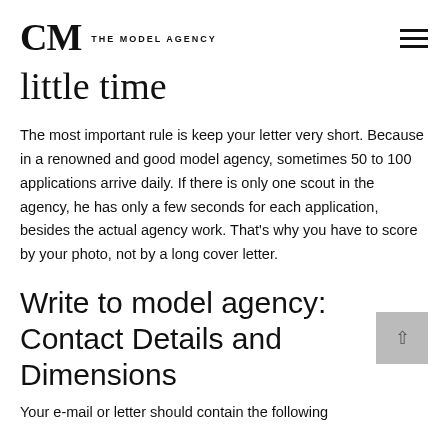CM THE MODEL AGENCY
little time
The most important rule is keep your letter very short. Because in a renowned and good model agency, sometimes 50 to 100 applications arrive daily. If there is only one scout in the agency, he has only a few seconds for each application, besides the actual agency work. That's why you have to score by your photo, not by a long cover letter.
Write to model agency: Contact Details and Dimensions
Your e-mail or letter should contain the following